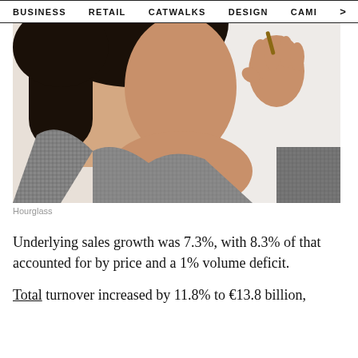BUSINESS   RETAIL   CATWALKS   DESIGN   CAMI >
[Figure (photo): Close-up photo of a woman wearing a grey textured blazer, holding something small (likely a cosmetic product) near her face, shot against a white background. The image is cropped to show neck, décolletage and hand area.]
Hourglass
Underlying sales growth was 7.3%, with 8.3% of that accounted for by price and a 1% volume deficit.
Total turnover increased by 11.8% to €13.8 billion,